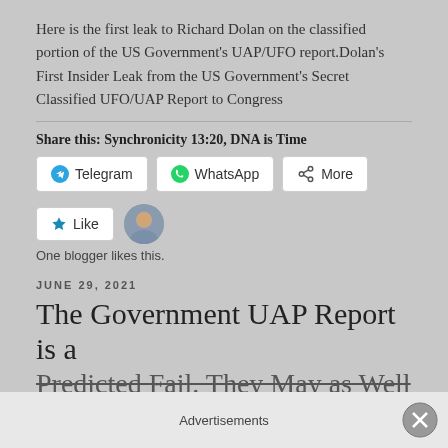Here is the first leak to Richard Dolan on the classified portion of the US Government's UAP/UFO report.Dolan's First Insider Leak from the US Government's Secret Classified UFO/UAP Report to Congress
Share this: Synchronicity 13:20, DNA is Time
Telegram  WhatsApp  More
Like
One blogger likes this.
JUNE 29, 2021
The Government UAP Report is a Predicted Fail. They May as Well be
Advertisements